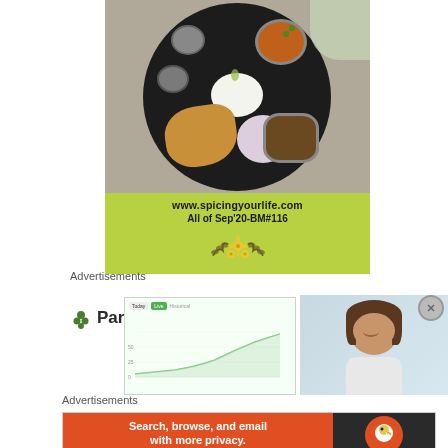[Figure (photo): Indian food thali plate with rice, roti, curry, vegetables, onion slices on a green background with URL www.spicingyourlife.com and text 'All of Sep'20-BM#116' with floral decoration]
Advertisements
[Figure (screenshot): Parse.ly advertisement with logo showing leaf icon and Parse.ly text, alongside a screenshot of analytics dashboard and a photo of a smiling woman]
Advertisements
[Figure (other): DuckDuckGo advertisement: orange background with text 'Search, browse, and email with more privacy.' and 'All in One Free App' button, with DuckDuckGo logo on dark background]